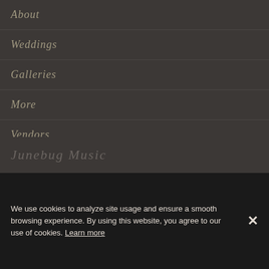About
Weddings
Galleries
More
Vendors
Junebug Music
We use cookies to analyze site usage and ensure a smooth browsing experience. By using this website, you agree to our use of cookies. Learn more